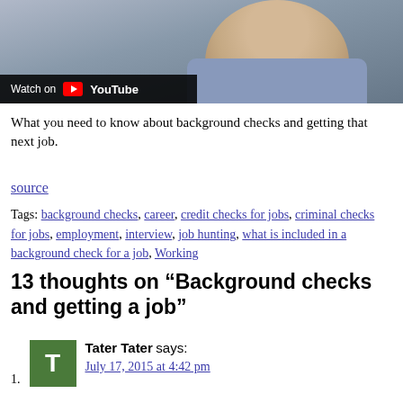[Figure (screenshot): YouTube video thumbnail showing a person in a suit jacket with 'Watch on YouTube' overlay button in the lower left]
What you need to know about background checks and getting that next job.
source
Tags: background checks, career, credit checks for jobs, criminal checks for jobs, employment, interview, job hunting, what is included in a background check for a job, Working
13 thoughts on “Background checks and getting a job”
1. Tater Tater says: July 17, 2015 at 4:42 pm